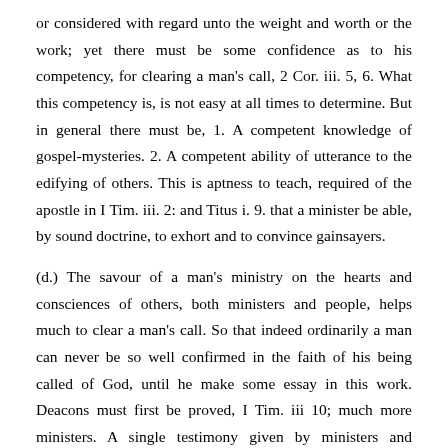or considered with regard unto the weight and worth or the work; yet there must be some confidence as to his competency, for clearing a man's call, 2 Cor. iii. 5, 6. What this competency is, is not easy at all times to determine. But in general there must be, 1. A competent knowledge of gospel-mysteries. 2. A competent ability of utterance to the edifying of others. This is aptness to teach, required of the apostle in I Tim. iii. 2: and Titus i. 9. that a minister be able, by sound doctrine, to exhort and to convince gainsayers.
(d.) The savour of a man's ministry on the hearts and consciences of others, both ministers and people, helps much to clear a man's call. So that indeed ordinarily a man can never be so well confirmed in the faith of his being called of God, until he make some essay in this work. Deacons must first be proved, I Tim. iii 10; much more ministers. A single testimony given by ministers and Christians, that the word dispensed by the man is